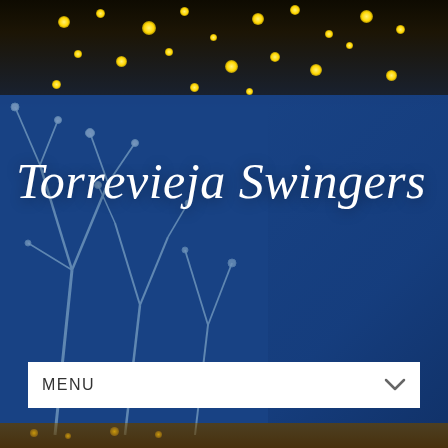[Figure (photo): Website screenshot of Torrevieja Swingers site showing a dark hero image with golden fairy lights and branches in the background, overlaid with a semi-transparent blue panel. A smiling man in a suit is partially visible in the lower right. A white menu dropdown bar reads MENU with a chevron. Lower portion shows a white Login section area.]
Torrevieja Swingers
MENU
Login to Make Contact
Username: